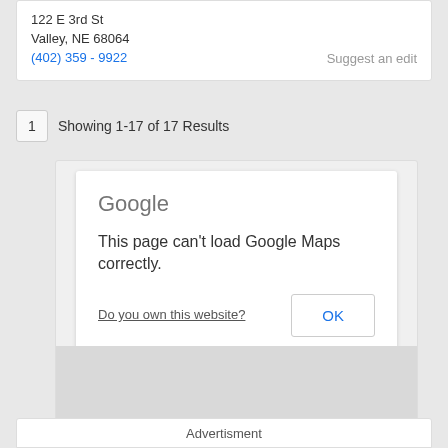24.1 mi.
122 E 3rd St
Valley, NE 68064
(402) 359 - 9922
Suggest an edit
1   Showing 1-17 of 17 Results
[Figure (screenshot): Google Maps error dialog reading 'This page can't load Google Maps correctly.' with a 'Do you own this website?' link and an OK button, overlaid on a greyed-out map background.]
Advertisment